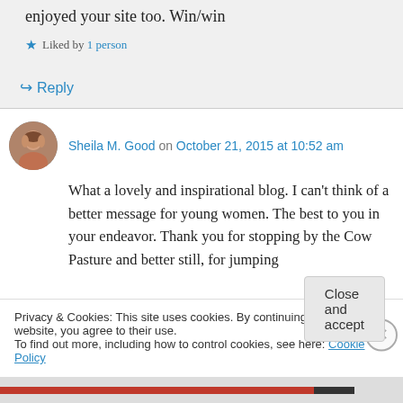enjoyed your site too. Win/win
★ Liked by 1 person
↪ Reply
Sheila M. Good on October 21, 2015 at 10:52 am
What a lovely and inspirational blog. I can't think of a better message for young women. The best to you in your endeavor. Thank you for stopping by the Cow Pasture and better still, for jumping
Privacy & Cookies: This site uses cookies. By continuing to use this website, you agree to their use. To find out more, including how to control cookies, see here: Cookie Policy
Close and accept